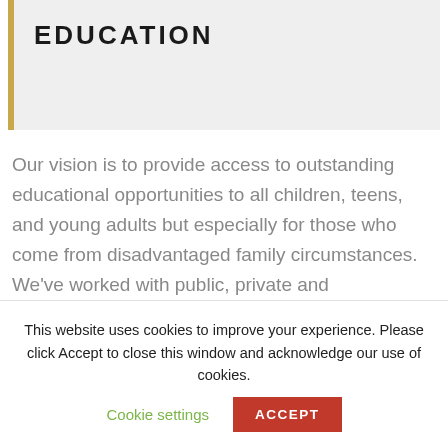EDUCATION
Our vision is to provide access to outstanding educational opportunities to all children, teens, and young adults but especially for those who come from disadvantaged family circumstances. We've worked with public, private and
This website uses cookies to improve your experience. Please click Accept to close this window and acknowledge our use of cookies.
Cookie settings
ACCEPT